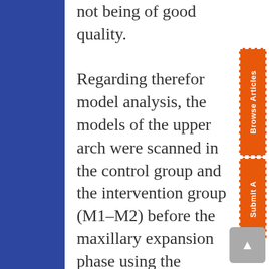not being of good quality. Regarding therefor model analysis, the models of the upper arch were scanned in the control group and the intervention group (M1–M2) before the maxillary expansion phase using the Optical Reveng 2.0 Dental